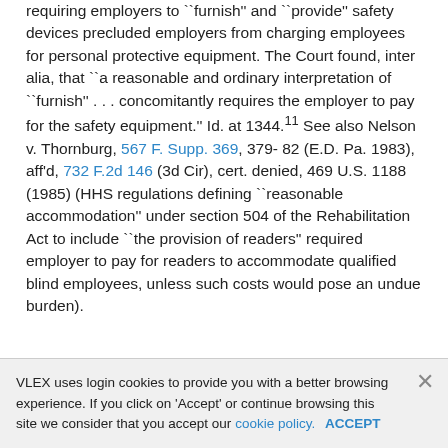requiring employers to ``furnish'' and ``provide'' safety devices precluded employers from charging employees for personal protective equipment. The Court found, inter alia, that ``a reasonable and ordinary interpretation of ``furnish'' . . . concomitantly requires the employer to pay for the safety equipment.'' Id. at 1344.<SUP>11</SUP> See also Nelson v. Thornburg, 567 F. Supp. 369, 379-82 (E.D. Pa. 1983), aff'd, 732 F.2d 146 (3d Cir), cert. denied, 469 U.S. 1188 (1985) (HHS regulations defining ``reasonable accommodation'' under section 504 of the Rehabilitation Act to include ``the provision of readers'' required employer to pay for readers to accommodate qualified blind employees, unless such costs would pose an undue burden).
VLEX uses login cookies to provide you with a better browsing experience. If you click on 'Accept' or continue browsing this site we consider that you accept our cookie policy. ACCEPT